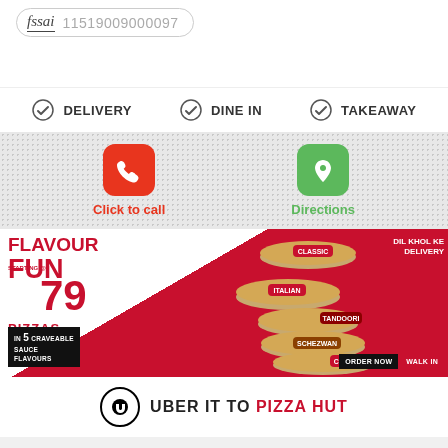fssai 11519009000097
DELIVERY  DINE IN  TAKEAWAY
Click to call
Directions
[Figure (photo): Pizza Hut advertisement banner: FLAVOUR FUN PIZZAS starting @ 79, in 5 craveable sauce flavours. Features pizza images labeled CLASSIC, ITALIAN, TANDOORI, SCHEZWAN, CHEEZY. DIL KHOL KE DELIVERY. ORDER NOW | WALK IN]
UBER IT TO PIZZA HUT